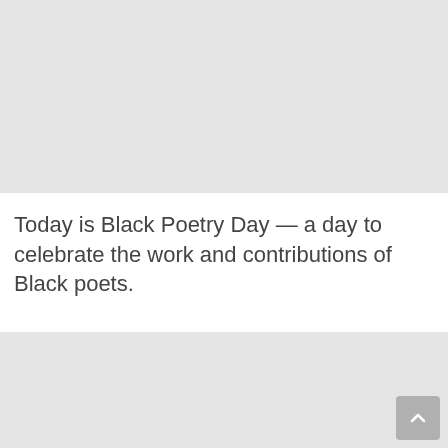[Figure (photo): Gray placeholder image at top of page]
Today is Black Poetry Day — a day to celebrate the work and contributions of Black poets.
[Figure (photo): Gray placeholder image at bottom of page]